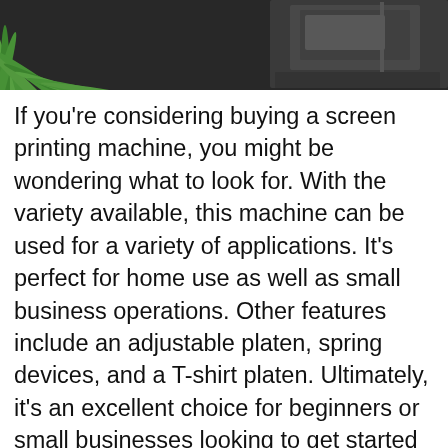[Figure (photo): Top portion of a screen printing machine shown against a dark background, with green palm leaves visible on the left side.]
If you're considering buying a screen printing machine, you might be wondering what to look for. With the variety available, this machine can be used for a variety of applications. It's perfect for home use as well as small business operations. Other features include an adjustable platen, spring devices, and a T-shirt platen. Ultimately, it's an excellent choice for beginners or small businesses looking to get started with screen printing.
The Epson Expression Photo V700 is